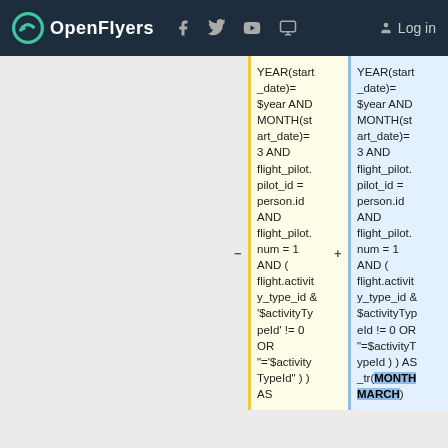OpenFlyers  Log in
YEAR(start_date)= $year AND MONTH(start_date)= 3 AND flight_pilot.pilot_id = person.id AND flight_pilot.num = 1 AND ( flight.activity_type_id & '$activityTypeId' != 0 OR "='$activityTypeId" ) ) AS
YEAR(start_date)= $year AND MONTH(start_date)= 3 AND flight_pilot.pilot_id = person.id AND flight_pilot.num = 1 AND ( flight.activity_type_id & $activityTypeId != 0 OR "=$activityTypeId ) ) AS _tr(MONTH MARCH)